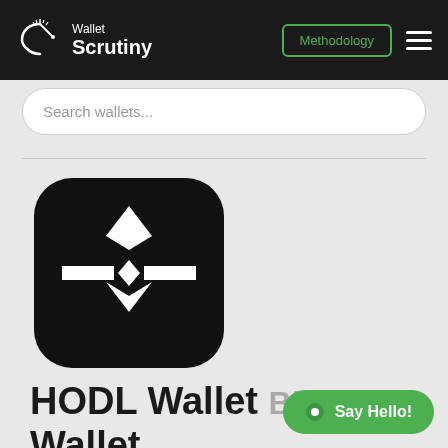Wallet Scrutiny — Methodology
Search wallets...
[Figure (logo): HODL Wallet app icon: black rounded square with white geometric diamond/arrow logo]
HODL Wallet Bitcoin Wallet